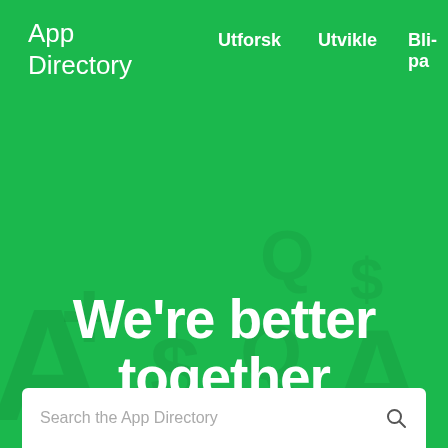App Directory
Utforsk
Utvikle
Bli pa
We're better together
Integrate with over 100+ SurveyMonkey apps and plug-ins to get more done
Search the App Directory